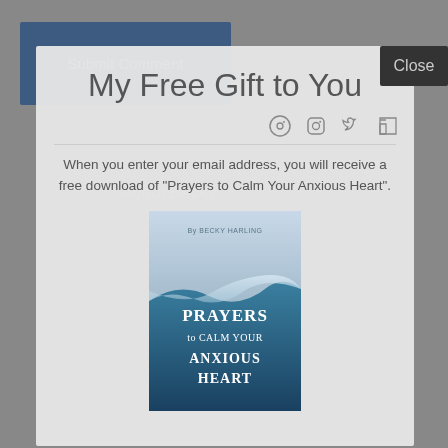Submit Comment
My Free Gift to You
When you enter your email address, you will receive a free download of "Prayers to Calm Your Anxious Heart".
[Figure (illustration): Book cover for 'Prayers to Calm Your Anxious Heart' by Becky Harling, showing ocean wave imagery with white text on a teal/blue background.]
Close
About Becky